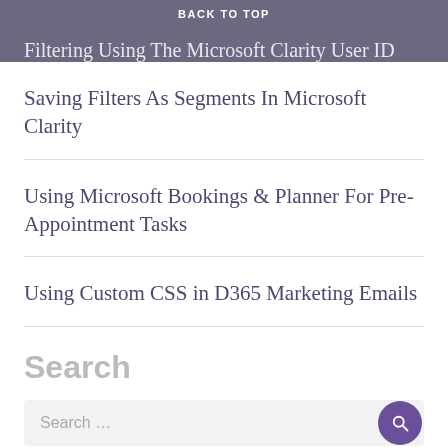BACK TO TOP
Filtering Using The Microsoft Clarity User ID
Saving Filters As Segments In Microsoft Clarity
Using Microsoft Bookings & Planner For Pre-Appointment Tasks
Using Custom CSS in D365 Marketing Emails
Search
Search …